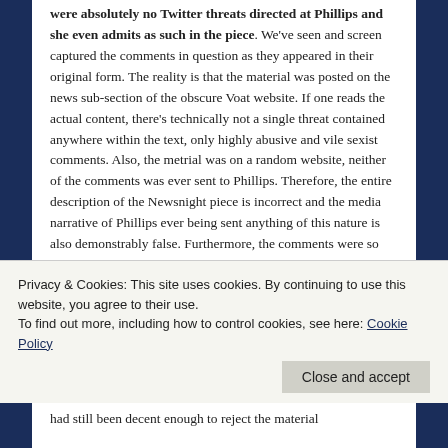were absolutely no Twitter threats directed at Phillips and she even admits as such in the piece. We've seen and screen captured the comments in question as they appeared in their original form. The reality is that the material was posted on the news sub-section of the obscure Voat website. If one reads the actual content, there's technically not a single threat contained anywhere within the text, only highly abusive and vile sexist comments. Also, the metrial was on a random website, neither of the comments was ever sent to Phillips. Therefore, the entire description of the Newsnight piece is incorrect and the media narrative of Phillips ever being sent anything of this nature is also demonstrably false. Furthermore, the comments were so unpopular on Voat that they
Privacy & Cookies: This site uses cookies. By continuing to use this website, you agree to their use.
To find out more, including how to control cookies, see here: Cookie Policy
Close and accept
had still been decent enough to reject the material